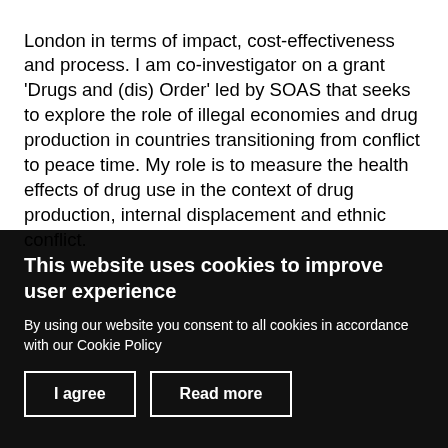London in terms of impact, cost-effectiveness and process.  I am co-investigator on a grant 'Drugs and (dis) Order' led by SOAS that seeks to explore the role of illegal economies and drug production in countries transitioning from conflict to peace time.  My role is to measure the health effects of drug use in the context of drug production, internal displacement and ethnic conflict.
This website uses cookies to improve user experience
By using our website you consent to all cookies in accordance with our Cookie Policy